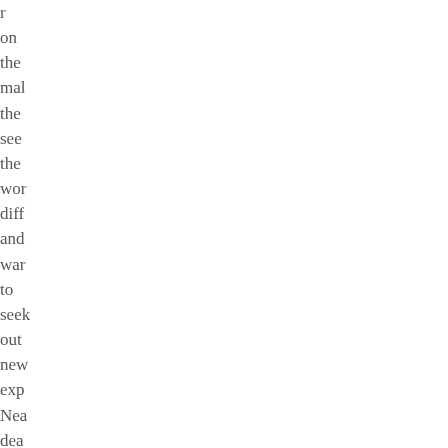r on the mal the see the wor diff and war to seek out new exp Nea dea exp can hav ana spi effe